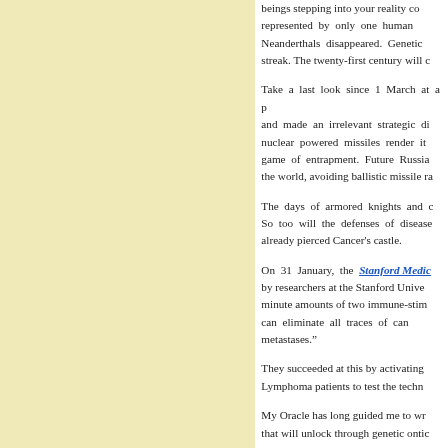beings stepping into your reality co... represented by only one human... Neanderthals disappeared. Genetic streak. The twenty-first century will c...
Take a last look since 1 March at a p... and made an irrelevant strategic di... nuclear powered missiles render it... game of entrapment. Future Russia... the world, avoiding ballistic missile ra...
The days of armored knights and c... So too will the defenses of disease... already pierced Cancer's castle.
On 31 January, the Stanford Medic... by researchers at the Stanford Unive... minute amounts of two immune-stim... can eliminate all traces of can... metastases.”
They succeeded at this by activating... Lymphoma patients to test the techn...
My Oracle has long guided me to wr... that will unlock through genetic ontic...